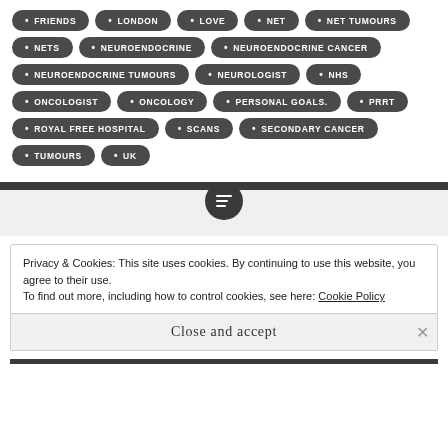FRIENDS
LONDON
LOVE
NET
NET TUMOURS
NETS
NEUROENDOCRINE
NEUROENDOCRINE CANCER
NEUROENDOCRINE TUMOURS
NEUROLOGIST
NHS
ONCOLOGIST
ONCOLOGY
PERSONAL GOALS.
PRRT
ROYAL FREE HOSPITAL
SCANS
SECONDARY CANCER
TUMOURS
UK
Privacy & Cookies: This site uses cookies. By continuing to use this website, you agree to their use.
To find out more, including how to control cookies, see here: Cookie Policy
Close and accept